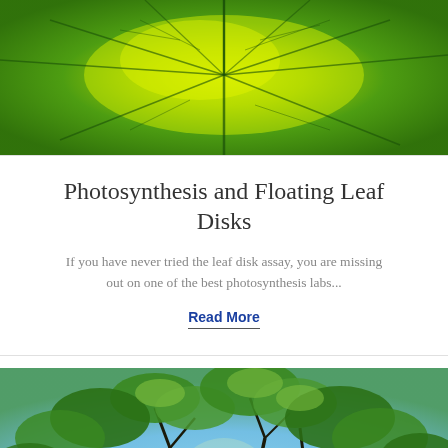[Figure (photo): Close-up macro photograph of a green leaf showing yellow-green coloration with prominent dark green veins radiating from a central point, backlit to show leaf structure]
Photosynthesis and Floating Leaf Disks
If you have never tried the leaf disk assay, you are missing out on one of the best photosynthesis labs...
Read More
[Figure (photo): Looking upward through a forest canopy of green maple-like leaves with sunlight filtering through, blue sky visible between the leaves, sun burst visible near the bottom center]